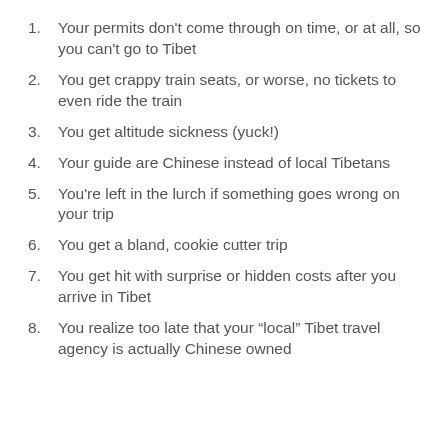Your permits don't come through on time, or at all, so you can't go to Tibet
You get crappy train seats, or worse, no tickets to even ride the train
You get altitude sickness (yuck!)
Your guide are Chinese instead of local Tibetans
You're left in the lurch if something goes wrong on your trip
You get a bland, cookie cutter trip
You get hit with surprise or hidden costs after you arrive in Tibet
You realize too late that your “local” Tibet travel agency is actually Chinese owned